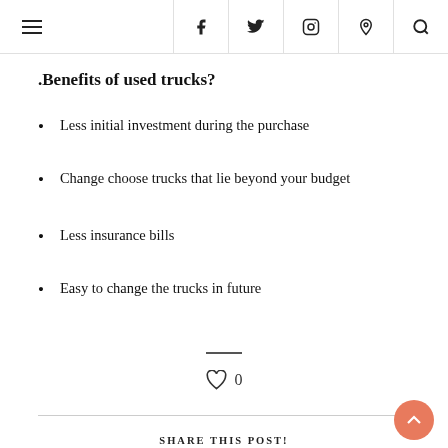≡  f  twitter  instagram  pinterest  search
.Benefits of used trucks?
Less initial investment during the purchase
Change choose trucks that lie beyond your budget
Less insurance bills
Easy to change the trucks in future
SHARE THIS POST!